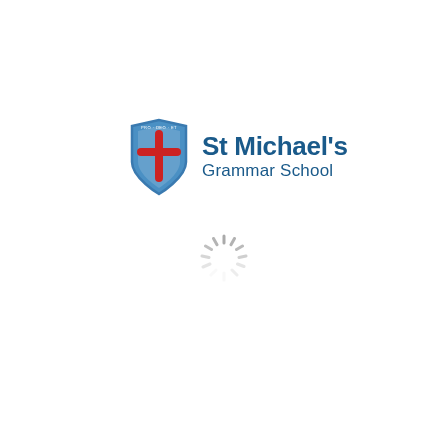[Figure (logo): St Michael's Grammar School logo: a blue shield with red cross/grid pattern and text 'St Michael's Grammar School' in dark blue]
[Figure (other): Loading spinner icon — circular arc of grey dashes indicating a page loading state]